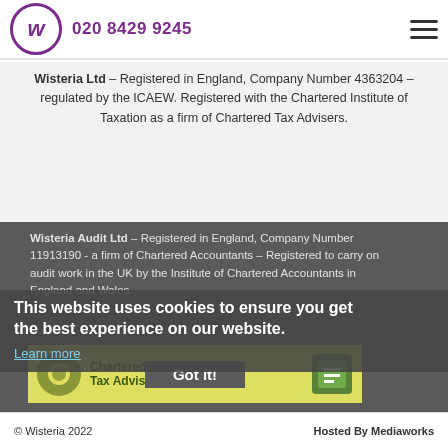020 8429 9245
Wisteria Ltd – Registered in England, Company Number 4363204 – regulated by the ICAEW. Registered with the Chartered Institute of Taxation as a firm of Chartered Tax Advisers.
Wisteria Audit Ltd – Registered in England, Company Number 11913190 - a firm of Chartered Accountants – Registered to carry on audit work in the UK by the Institute of Chartered Accountants in England and Wales.
This website uses cookies to ensure you get the best experience on our website.
Learn more
[Figure (logo): Chartered Tax Advisers logo banner with CITA and ICAEW logos on yellow background with Got it button]
© Wisteria 2022    Hosted By Mediaworks